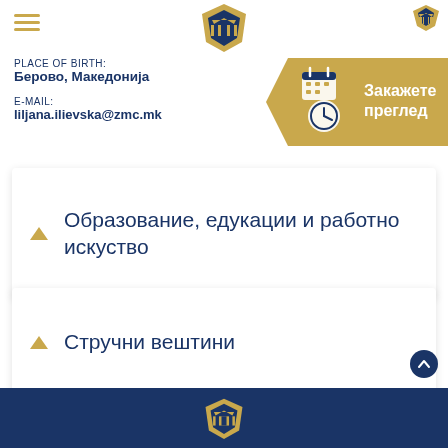[Figure (logo): Gold shield/crown logo centered at top]
PLACE OF BIRTH:
Берово, Македонија
E-MAIL:
ljana.ilievska@zmc.mk
[Figure (infographic): Gold arrow button with calendar and clock icons, text: Закажете преглед]
Образование, едукации и работно искуство
Стручни вештини
[Figure (logo): Gold shield/crown logo in dark blue footer]